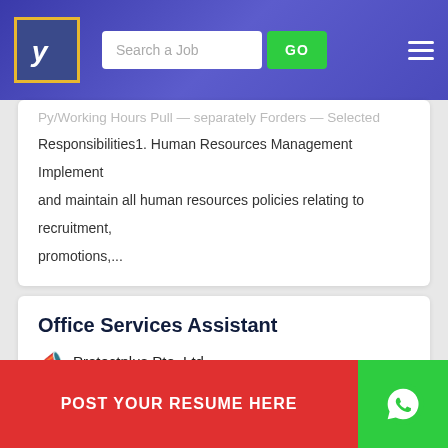Search a Job  GO
Py/Working Hours Pull - separately Forders - Selected Responsibilities1. Human Resources Management Implement and maintain all human resources policies relating to recruitment, promotions,...
Office Services Assistant
Protectplus Pte. Ltd.
Location : Singapore
State :
POST YOUR RESUME HERE
Roles & ResponsibilitiesLooking for an office assistant who is